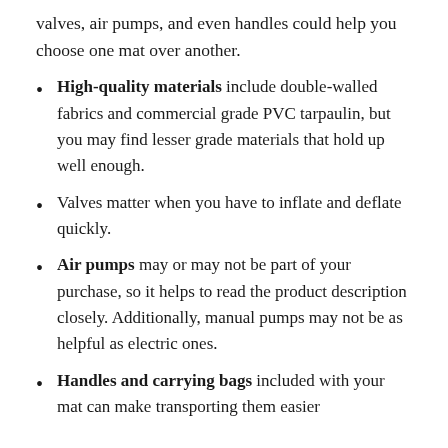valves, air pumps, and even handles could help you choose one mat over another.
High-quality materials include double-walled fabrics and commercial grade PVC tarpaulin, but you may find lesser grade materials that hold up well enough.
Valves matter when you have to inflate and deflate quickly.
Air pumps may or may not be part of your purchase, so it helps to read the product description closely. Additionally, manual pumps may not be as helpful as electric ones.
Handles and carrying bags included with your mat can make transporting them easier